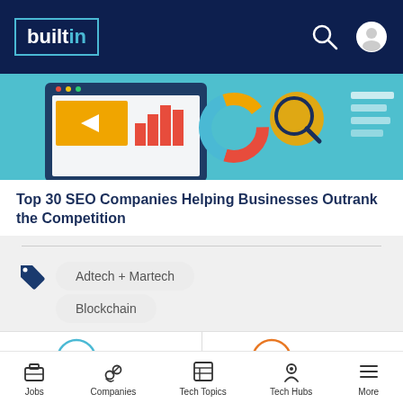builtin
[Figure (illustration): Decorative article header image showing SEO/analytics dashboard elements on teal background]
Top 30 SEO Companies Helping Businesses Outrank the Competition
Adtech + Martech
Blockchain
[Figure (infographic): LinkedIn Post button with teal circle (in) icon and 'Post' text]
[Figure (infographic): Hacker News Share button with orange circle (Y) icon and 'Share' text]
Jobs  Companies  Tech Topics  Tech Hubs  More